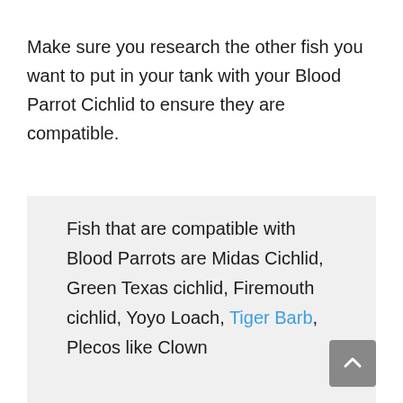Make sure you research the other fish you want to put in your tank with your Blood Parrot Cichlid to ensure they are compatible.
Fish that are compatible with Blood Parrots are Midas Cichlid, Green Texas cichlid, Firemouth cichlid, Yoyo Loach, Tiger Barb, Plecos like Clown Pleco, Emperor Tetra, Honey...